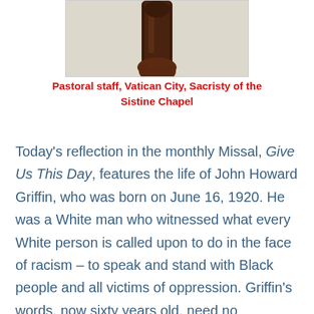[Figure (photo): Close-up photograph of a dark brown wooden or metal pastoral staff (crozier) held in a hand, set against a light beige/cream background.]
Pastoral staff, Vatican City, Sacristy of the Sistine Chapel
Today's reflection in the monthly Missal, Give Us This Day, features the life of John Howard Griffin, who was born on June 16, 1920. He was a White man who witnessed what every White person is called upon to do in the face of racism – to speak and stand with Black people and all victims of oppression. Griffin's words, now sixty years old, need no interpretation. The following passages are from Black Like Me (1961)